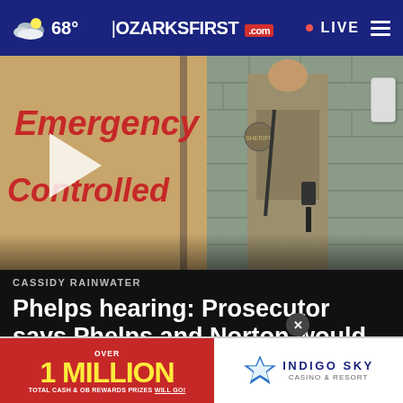68° | OZARKSFIRST .com | LIVE
[Figure (screenshot): Video thumbnail showing a door with 'Emergency Controlled' text in red on a tan door, with a law enforcement officer in tan uniform standing in the right portion. A play button overlay is visible.]
CASSIDY RAINWATER
Phelps hearing: Prosecutor says Phelps and Norton would search for potential victims at Wa...
[Figure (infographic): Advertisement banner: Left red section reads 'OVER 1 MILLION TOTAL CASH & OG REWARDS PRIZES WILL GO!' Right white section shows Indigo Sky Casino & Resort logo with star graphic. An X close button overlays the boundary.]